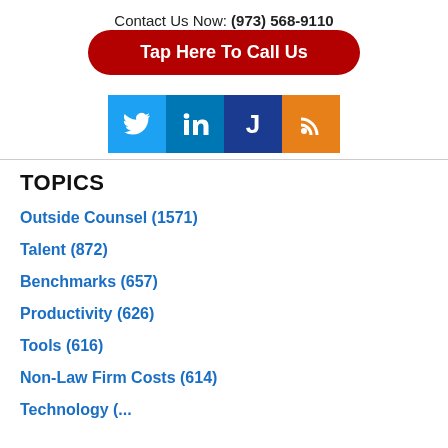Contact Us Now: (973) 568-9110
Tap Here To Call Us
[Figure (illustration): Social media icons: Twitter (blue bird logo), LinkedIn (blue 'in' logo), Justia (dark blue 'J' logo), RSS feed (orange wifi symbol)]
TOPICS
Outside Counsel (1571)
Talent (872)
Benchmarks (657)
Productivity (626)
Tools (616)
Non-Law Firm Costs (614)
Technology (partially visible)